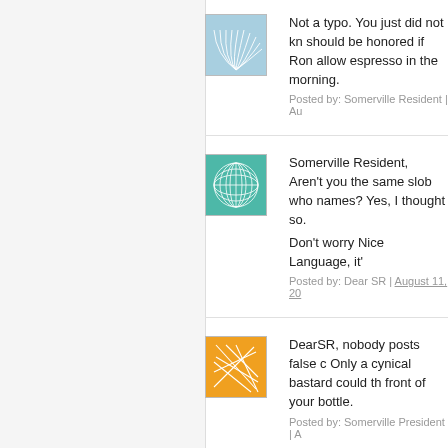[Figure (illustration): Avatar icon: blue fan/leaf pattern on light blue background]
Not a typo. You just did not kn should be honored if Ron allow espresso in the morning.
Posted by: Somerville Resident | Au
[Figure (illustration): Avatar icon: teal grid/net pattern on teal background]
Somerville Resident, Aren't you the same slob who names? Yes, I thought so. Don't worry Nice Language, it'
Posted by: Dear SR | August 11, 20
[Figure (illustration): Avatar icon: orange background with white line/network pattern]
DearSR, nobody posts false c Only a cynical bastard could th front of your bottle.
Posted by: Somerville President | A
[Figure (illustration): Avatar icon: teal background with white leaf/burst pattern]
The police department should protected activity. Their job is a crime. For the police to inves the department is a misuse of